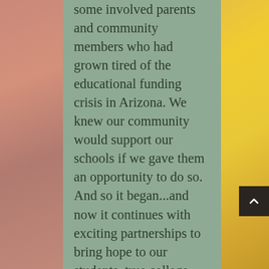some involved parents and community members who had grown tired of the educational funding crisis in Arizona. We knew our community would support our schools if we gave them an opportunity to do so. And so it began...and now it continues with exciting partnerships to bring hope to our students, true college and career readiness opportunities for our district, and expanding to hire staff and continue to develop into the Foundation